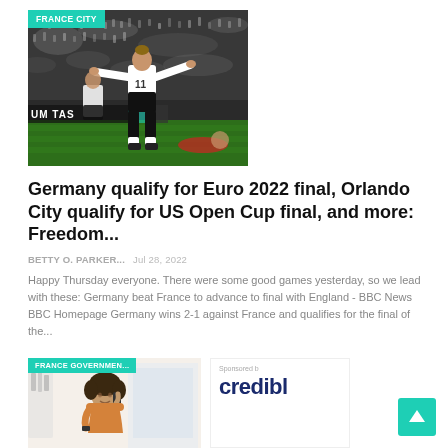[Figure (photo): Soccer player wearing white jersey number 11, arms spread wide celebrating, with crowd in background and stadium setting]
Germany qualify for Euro 2022 final, Orlando City qualify for US Open Cup final, and more: Freedom...
BETTY O. PARKER...   Jul 28, 2022
Happy Thursday everyone. There were some good games yesterday, so we lead with these: Germany beat France to advance to final with England - BBC News BBC Homepage Germany wins 2-1 against France and qualifies for the final of the...
[Figure (photo): Woman talking on phone, wearing orange top, with FRANCE GOVERNMEN... badge]
[Figure (logo): Sponsored content card showing 'credible' logo/text]